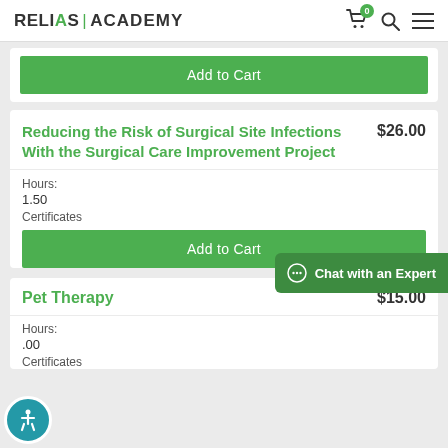RELIAS ACADEMY
Add to Cart
Reducing the Risk of Surgical Site Infections With the Surgical Care Improvement Project $26.00
Hours: 1.50 Certificates
Add to Cart
Pet Therapy $15.00
Hours: 1.00 Certificates